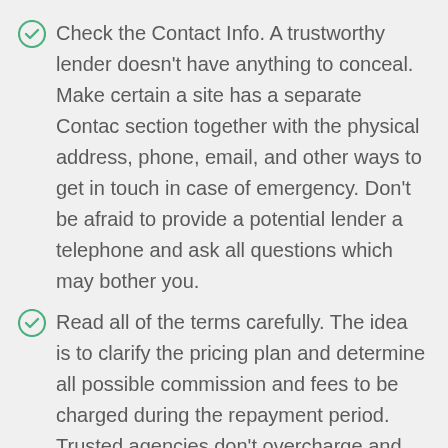Check the Contact Info. A trustworthy lender doesn't have anything to conceal. Make certain a site has a separate Contac section together with the physical address, phone, email, and other ways to get in touch in case of emergency. Don't be afraid to provide a potential lender a telephone and ask all questions which may bother you.
Read all of the terms carefully. The idea is to clarify the pricing plan and determine all possible commission and fees to be charged during the repayment period. Trusted agencies don't overcharge and follow loan limits and interest rates established by the state authorities.
Reviews and Testimonials. They actually form the internet reputation for virtually any business despite